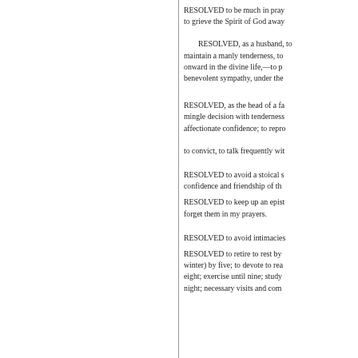RESOLVED to be much in pra[yer, and never] to grieve the Spirit of God away[...]
RESOLVED, as a husband, to[...] maintain a manly tenderness, to[...] onward in the divine life,—to p[...] benevolent sympathy, under the[...]
RESOLVED, as the head of a fa[mily, to] mingle decision with tenderness[...] affectionate confidence; to repr[ove...]
to convict, to talk frequently wi[th...]
RESOLVED to avoid a stoical s[pirit...] confidence and friendship of th[e...]
RESOLVED to keep up an epist[olary...] forget them in my prayers.
RESOLVED to avoid intimacie[s...]
RESOLVED to retire to rest by [...] winter) by five; to devote to rea[ding...] eight; exercise until nine; study [...] night; necessary visits and com[pany...]